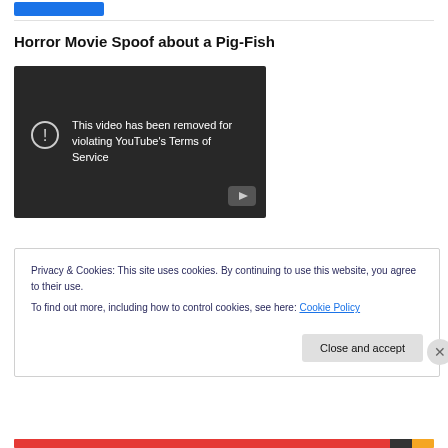[Figure (screenshot): Blue button in page header area]
Horror Movie Spoof about a Pig-Fish
[Figure (screenshot): Embedded YouTube video player showing error message: 'This video has been removed for violating YouTube's Terms of Service' with a circle exclamation icon and YouTube logo button]
Privacy & Cookies: This site uses cookies. By continuing to use this website, you agree to their use.
To find out more, including how to control cookies, see here: Cookie Policy
Close and accept